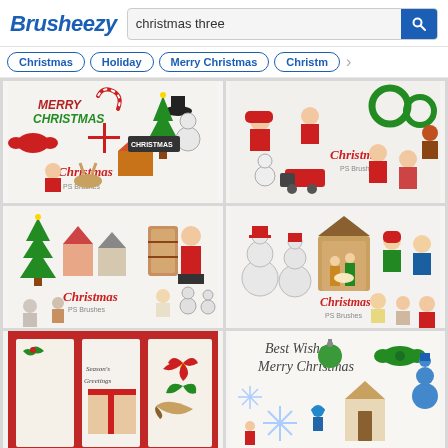Brusheezy — christmas three search results
Christmas | Holiday | Merry Christmas | Christmas...
[Figure (screenshot): Brusheezy website screenshot showing search results for 'christmas three' with 6 thumbnail images of Christmas-themed Photoshop brush packs including snowmen, Santa Claus, angels, nativity, and holiday figurines. Navigation tags: Christmas, Holiday, Merry Christmas, Christmas...]